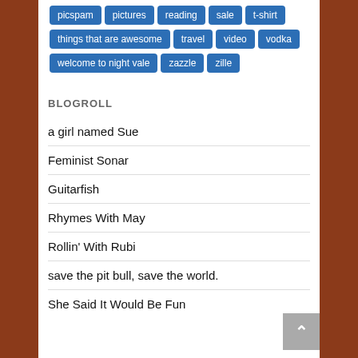picspam
pictures
reading
sale
t-shirt
things that are awesome
travel
video
vodka
welcome to night vale
zazzle
zille
BLOGROLL
a girl named Sue
Feminist Sonar
Guitarfish
Rhymes With May
Rollin' With Rubi
save the pit bull, save the world.
She Said It Would Be Fun